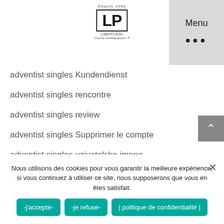[Figure (logo): LP Libercier logo with 'Depuis 1998' text above and bordered LP letters]
Menu ···
adventist singles Kundendienst
adventist singles rencontre
adventist singles review
adventist singles Supprimer le compte
adventist singles uzivatelske jmeno
adventist-tarihleme alan
adventist-tarihleme Ek okuma
Adventure Dating najlepsze strony
adventure dating sign in
Nous utilisons des cookies pour vous garantir la meilleure expérience, si vous continuez à utiliser ce site, nous supposerons que vous en êtes satisfait.
-j'accepte-
-je refuse-
| politique de confidentialité |